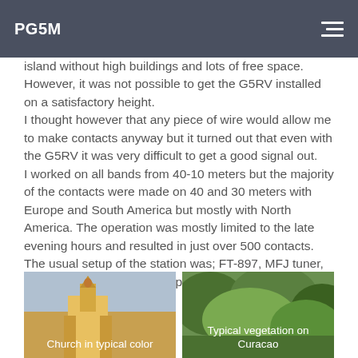PG5M
island without high buildings and lots of free space. However, it was not possible to get the G5RV installed on a satisfactory height.
I thought however that any piece of wire would allow me to make contacts anyway but it turned out that even with the G5RV it was very difficult to get a good signal out.
I worked on all bands from 40-10 meters but the majority of the contacts were made on 40 and 30 meters with Europe and South America but mostly with North America. The operation was mostly limited to the late evening hours and resulted in just over 500 contacts. The usual setup of the station was; FT-897, MFJ tuner, Bencher paddle and a laptop with CT logging software.
[Figure (photo): Photo of a church in typical color, likely on Curacao island]
Church in typical color
[Figure (photo): Photo showing typical vegetation on Curacao]
Typical vegetation on Curacao